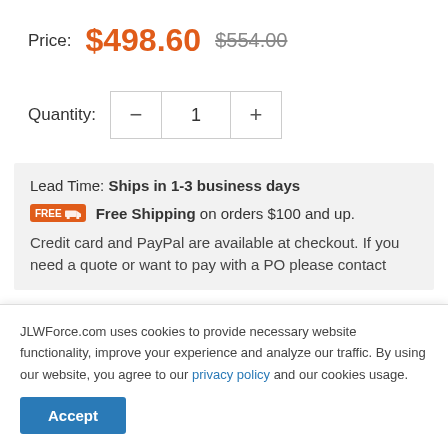Price: $498.60 $554.00
Quantity: 1
Lead Time: Ships in 1-3 business days
Free Shipping on orders $100 and up.
Credit card and PayPal are available at checkout. If you need a quote or want to pay with a PO please contact
JLWForce.com uses cookies to provide necessary website functionality, improve your experience and analyze our traffic. By using our website, you agree to our privacy policy and our cookies usage.